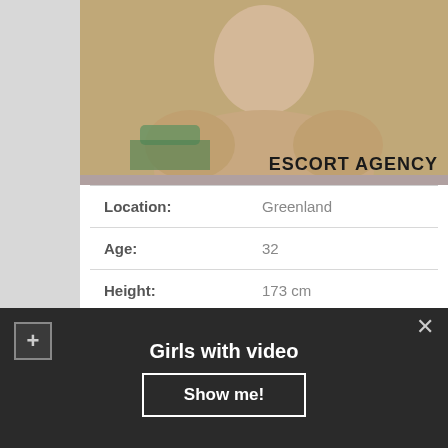[Figure (photo): Person sitting cross-legged, photo with watermark text ESCORT AGENCY at bottom right]
| Location: | Greenland |
| Age: | 32 |
| Height: | 173 cm |
| Weight: | 67 |
| Time to call: | 10:00 – 23:00 |
| Overnight: | 340$ |
Girls with video
Show me!